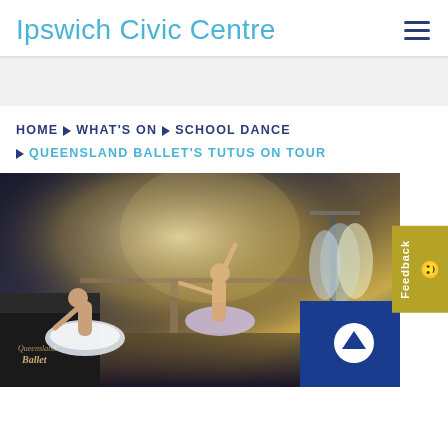Ipswich Civic Centre
HOME ▶ WHAT'S ON ▶ SCHOOL DANCE ▶ QUEENSLAND BALLET'S TUTUS ON TOUR
[Figure (photo): Ballet dancers in tutus posed on stage; one dancer stretches at a barre, another bows, a third sits, and a fourth stands adjusting her tutu near costume racks in a backstage/stage setting.]